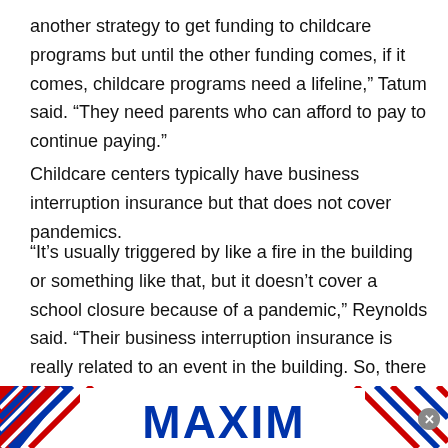another strategy to get funding to childcare programs but until the other funding comes, if it comes, childcare programs need a lifeline,” Tatum said. “They need parents who can afford to pay to continue paying.”
Childcare centers typically have business interruption insurance but that does not cover pandemics.
“It’s usually triggered by like a fire in the building or something like that, but it doesn’t cover a school closure because of a pandemic,” Reynolds said. “Their business interruption insurance is really related to an event in the building. So, there is no insurance for this.”
Both Reynolds and Tatum said that the childcare centers are not trying to benefit from this crisis or be greedy
[Figure (logo): MAXIM logo banner with red and blue diagonal stripes on white background, with a close button in the bottom right]